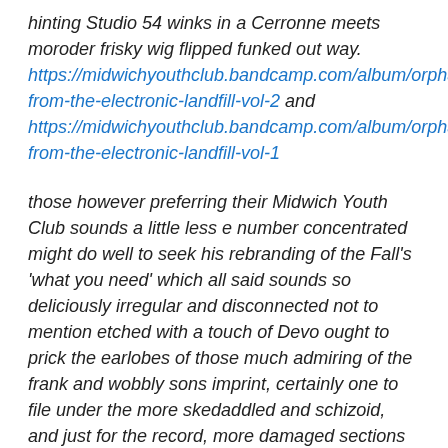hinting Studio 54 winks in a Cerronne meets moroder frisky wig flipped funked out way. https://midwichyouthclub.bandcamp.com/album/orphans-from-the-electronic-landfill-vol-2 and https://midwichyouthclub.bandcamp.com/album/orphans-from-the-electronic-landfill-vol-1
those however preferring their Midwich Youth Club sounds a little less e number concentrated might do well to seek his rebranding of the Fall's 'what you need' which all said sounds so deliciously irregular and disconnected not to mention etched with a touch of Devo ought to prick the earlobes of those much admiring of the frank and wobbly sons imprint, certainly one to file under the more skedaddled and schizoid, and just for the record, more damaged sections of your prized listening library. https://midwichyouthclub.bandcamp.com/track/what-you-